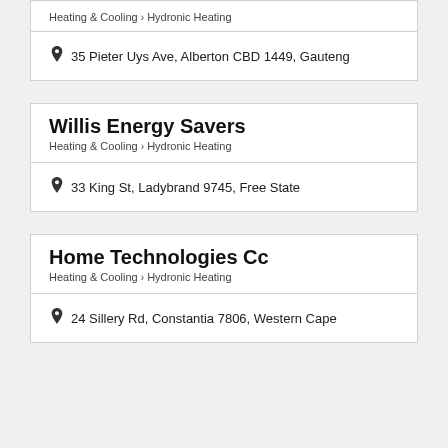Heating & Cooling > Hydronic Heating
35 Pieter Uys Ave, Alberton CBD 1449, Gauteng
Willis Energy Savers
Heating & Cooling > Hydronic Heating
33 King St, Ladybrand 9745, Free State
Home Technologies Cc
Heating & Cooling > Hydronic Heating
24 Sillery Rd, Constantia 7806, Western Cape